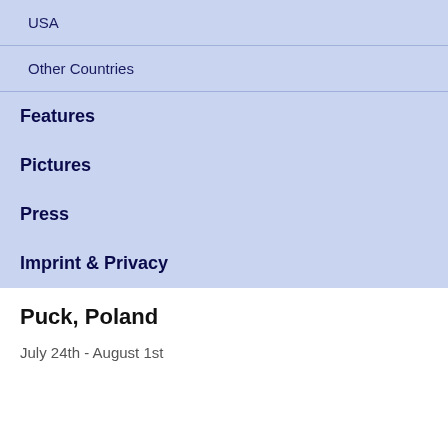USA
Other Countries
Features
Pictures
Press
Imprint & Privacy
Puck, Poland
July 24th - August 1st